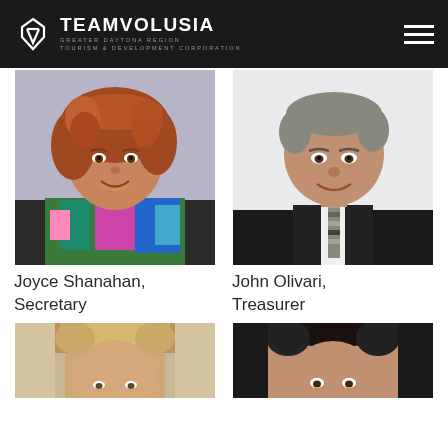TEAM VOLUSIA — Greater Daytona Region Tourism & Development Corporation
[Figure (photo): Headshot of Joyce Shanahan, woman with curly auburn hair wearing colorful floral top]
[Figure (photo): Headshot of John Olivari, man in dark suit and striped tie, smiling]
Joyce Shanahan, Secretary
John Olivari, Treasurer
[Figure (photo): Partial headshot of a man with light brown hair in light blue setting]
[Figure (photo): Partial headshot of a man against dark background]